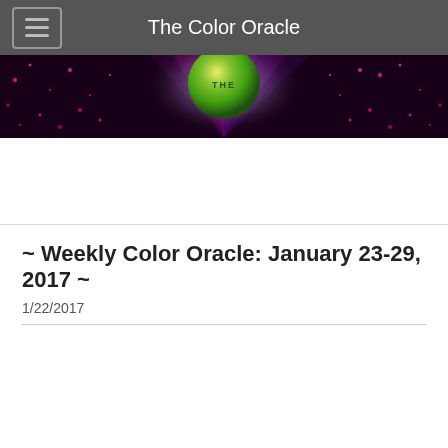The Color Oracle
[Figure (photo): Website banner image for The Color Oracle showing a dark background with pink/magenta sparkle dots, purple light rays, and a central green/yellow glowing orb with the text THE on it]
~ Weekly Color Oracle: January 23-29, 2017 ~
1/22/2017